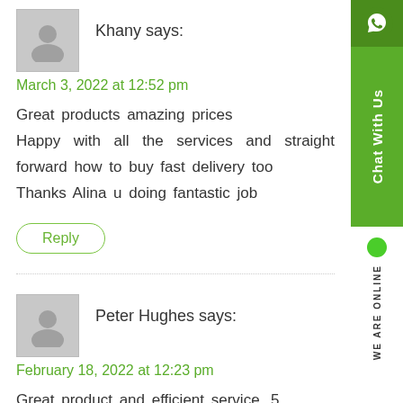[Figure (photo): Grey avatar/placeholder user icon for Khany]
Khany says:
March 3, 2022 at 12:52 pm
Great products amazing prices
Happy with all the services and straight forward how to buy fast delivery too
Thanks Alina u doing fantastic job
Reply
[Figure (photo): Grey avatar/placeholder user icon for Peter Hughes]
Peter Hughes says:
February 18, 2022 at 12:23 pm
Great product and efficient service. 5